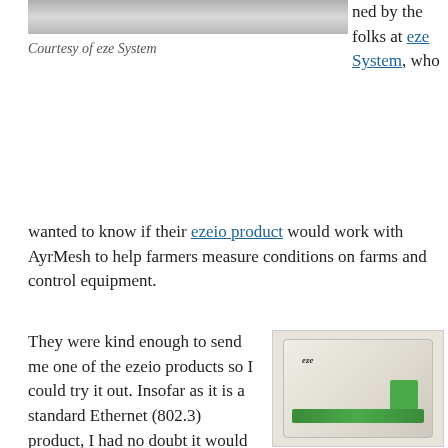[Figure (photo): Top portion of a photo, appears to be equipment or device, cropped at top of page]
Courtesy of eze System
ned by the folks at eze System, who wanted to know if their ezeio product would work with AyrMesh to help farmers measure conditions on farms and control equipment.
They were kind enough to send me one of the ezeio products so I could try it out. Insofar as it is a standard Ethernet (802.3) product, I had no doubt it would work perfectly with AyrMesh, and, of course, it did – I just connected it to an AyrMesh Receiver with an Ethernet cable and it appeared on my network.
[Figure (photo): Photo of an ezeio device – a beige/cream colored rectangular hardware box with green terminal connectors along the bottom and right side, with the eze logo visible on the front panel]